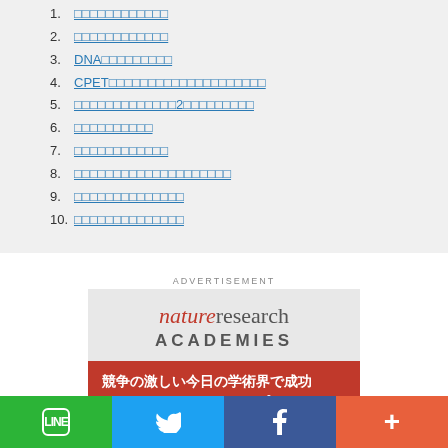1. （Japanese text - link）
2. （Japanese text - link）
3. DNA（Japanese text - link）
4. CPET（Japanese text - link）
5. （Japanese text）2（Japanese text - link）
6. （Japanese text - link）
7. （Japanese text - link）
8. （Japanese text - link）
9. （Japanese text - link）
10. （Japanese text - link）
ADVERTISEMENT
[Figure (advertisement): Nature Research Academies advertisement banner with Japanese text: 競争の激しい今日の学術界で成功するためのワークショップ (Workshop for success in today's competitive academic world)]